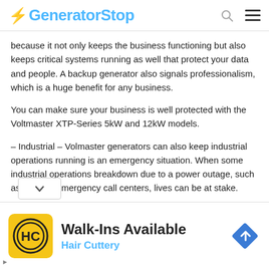GeneratorStop
because it not only keeps the business functioning but also keeps critical systems running as well that protect your data and people. A backup generator also signals professionalism, which is a huge benefit for any business.
You can make sure your business is well protected with the Voltmaster XTP-Series 5kW and 12kW models.
– Industrial – Volmaster generators can also keep industrial operations running is an emergency situation. When some industrial operations breakdown due to a power outage, such as hospital emergency call centers, lives can be at stake.
The Volmaster EC-Series have a variety of models with captions that range from 8kW to 365kw. The
[Figure (infographic): Advertisement banner: Walk-Ins Available at Hair Cuttery, with yellow HC logo icon and blue diamond navigation arrow]
Walk-Ins Available — Hair Cuttery